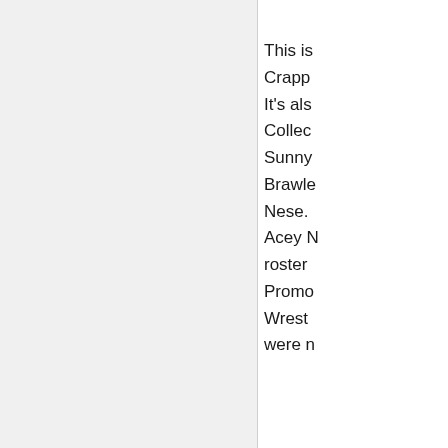This is Crapp It's als Collec Sunny Brawl Nese. Acey M roster Promo Wrest were n
Join m
Lig
I a
de stu WW